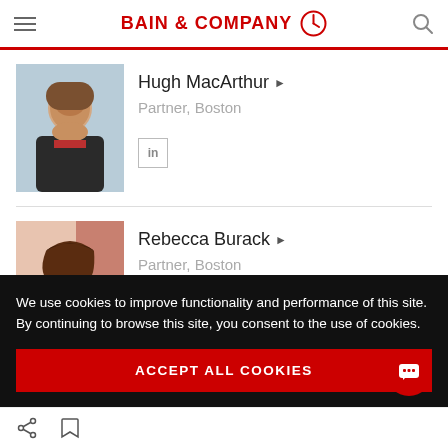BAIN & COMPANY
[Figure (photo): Professional headshot of Hugh MacArthur, a middle-aged man with gray hair and beard, wearing a dark suit and red tie]
Hugh MacArthur ▶
Partner, Boston
[Figure (photo): Professional headshot of Rebecca Burack, a woman with brown hair, wearing a white top, smiling]
Rebecca Burack ▶
Partner, Boston
We use cookies to improve functionality and performance of this site. By continuing to browse this site, you consent to the use of cookies.
ACCEPT ALL COOKIES
share | bookmark